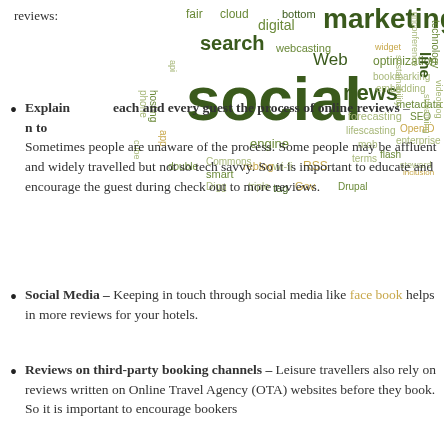reviews:
[Figure (infographic): Word cloud featuring social media and digital marketing related terms. Dominant words include 'social', 'marketing', 'news', 'search', 'Web', 'digital', 'cloud', in dark green, olive, and gold colors. Smaller words include RSS, Drupal, webcasting, optimization, bookmarking, metadata, SEO, line, enterprise, OpenID, unconference, technology, embedding, sustainability, streaming, videoblog, flash, terms, mob, forecasting, lifescasting, wi-fi, reblog, Gov, tag, triple, Digg, Commons, smart, app, phone, hosting, engine, double, bottom, fair, cube, steward, inclusion, widget, app, and many more.]
Explain to each and every guest the process of online reviews – Sometimes people are unaware of the process. Some people may be affluent and widely travelled but not so tech savvy. So it is important to educate and encourage the guest during check out to more reviews.
Social Media – Keeping in touch through social media like face book helps in more reviews for your hotels.
Reviews on third-party booking channels – Leisure travellers also rely on reviews written on Online Travel Agency (OTA) websites before they book. So it is important to encourage bookers